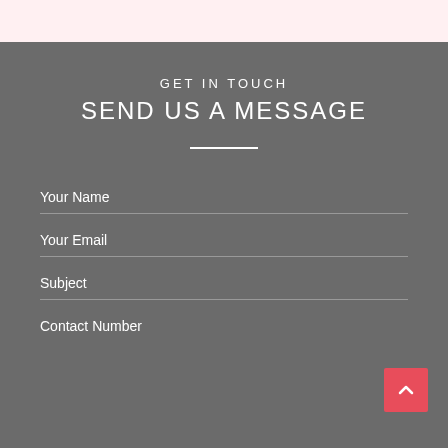GET IN TOUCH
SEND US A MESSAGE
Your Name
Your Email
Subject
Contact Number